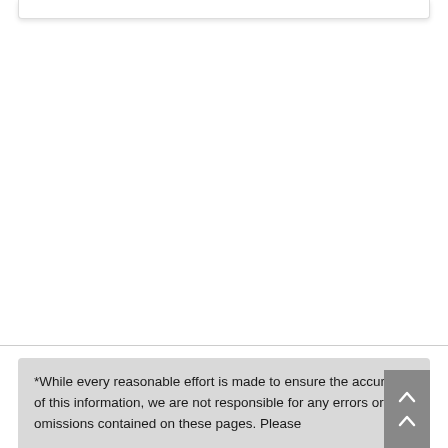*While every reasonable effort is made to ensure the accuracy of this information, we are not responsible for any errors or omissions contained on these pages. Please